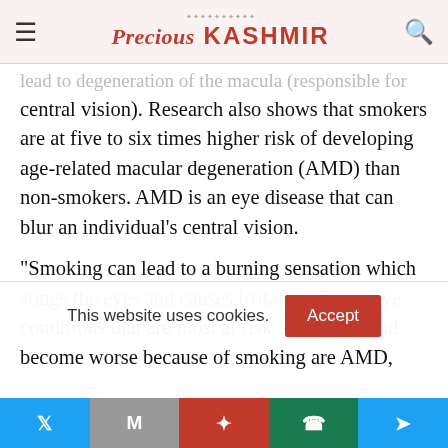Precious Kashmir
lead to degeneration of the macula (responsible for central vision). Research also shows that smokers are at five to six times higher risk of developing age-related macular degeneration (AMD) than non-smokers. AMD is an eye disease that can blur an individual's central vision.
“Smoking can lead to a burning sensation which stings the eyes and causes irritation. Three eye conditions that are most at risk to develop and become worse because of smoking are AMD,